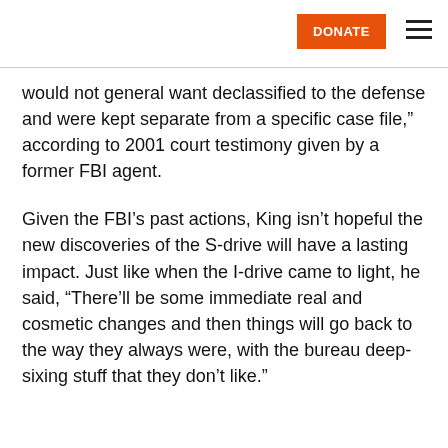DONATE [navigation]
would not general want declassified to the defense and were kept separate from a specific case file,” according to 2001 court testimony given by a former FBI agent.
Given the FBI’s past actions, King isn’t hopeful the new discoveries of the S-drive will have a lasting impact. Just like when the I-drive came to light, he said, “There’ll be some immediate real and cosmetic changes and then things will go back to the way they always were, with the bureau deep-sixing stuff that they don’t like.”